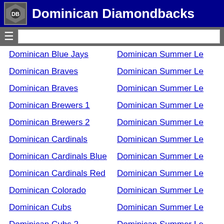Dominican Diamondbacks
Dominican Blue Jays
Dominican Summer Le
Dominican Braves
Dominican Summer Le
Dominican Braves
Dominican Summer Le
Dominican Brewers 1
Dominican Summer Le
Dominican Brewers 2
Dominican Summer Le
Dominican Cardinals
Dominican Summer Le
Dominican Cardinals Blue
Dominican Summer Le
Dominican Cardinals Red
Dominican Summer Le
Dominican Colorado
Dominican Summer Le
Dominican Cubs
Dominican Summer Le
Dominican Cubs 2
Dominican Summer Le
Dominican Cubs Blue
Dominican Summer Le
Dominican Cubs Red
Dominican Summer Le
Dominican Diablo/Red
Dominican Summer Le